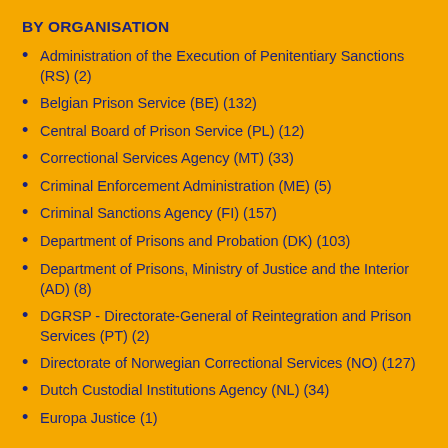BY ORGANISATION
Administration of the Execution of Penitentiary Sanctions (RS) (2)
Belgian Prison Service (BE) (132)
Central Board of Prison Service (PL) (12)
Correctional Services Agency (MT) (33)
Criminal Enforcement Administration (ME) (5)
Criminal Sanctions Agency (FI) (157)
Department of Prisons and Probation (DK) (103)
Department of Prisons, Ministry of Justice and the Interior (AD) (8)
DGRSP - Directorate-General of Reintegration and Prison Services (PT) (2)
Directorate of Norwegian Correctional Services (NO) (127)
Dutch Custodial Institutions Agency (NL) (34)
Europa Justice (1)